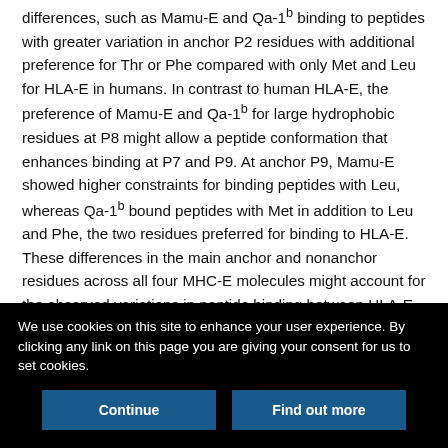differences, such as Mamu-E and Qa-1b binding to peptides with greater variation in anchor P2 residues with additional preference for Thr or Phe compared with only Met and Leu for HLA-E in humans. In contrast to human HLA-E, the preference of Mamu-E and Qa-1b for large hydrophobic residues at P8 might allow a peptide conformation that enhances binding at P7 and P9. At anchor P9, Mamu-E showed higher constraints for binding peptides with Leu, whereas Qa-1b bound peptides with Met in addition to Leu and Phe, the two residues preferred for binding to HLA-E. These differences in the main anchor and nonanchor residues across all four MHC-E molecules might account for the observed variations in peptide binding between HLA-E, Mamu-E, and Qa-1b. Even though MHC-E is highly conserved in humans,
We use cookies on this site to enhance your user experience. By clicking any link on this page you are giving your consent for us to set cookies.